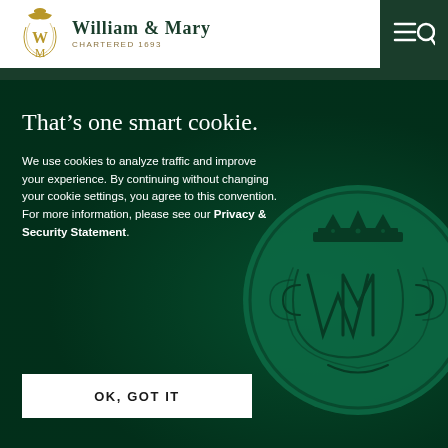[Figure (logo): William & Mary university crest/monogram in gold]
William & Mary Chartered 1693
[Figure (other): Navigation hamburger menu and search icon on dark green background]
That’s one smart cookie.
We use cookies to analyze traffic and improve your experience. By continuing without changing your cookie settings, you agree to this convention. For more information, please see our Privacy & Security Statement.
[Figure (illustration): William & Mary wax seal with royal cypher WM under a crown, rendered in dark green tones on textured green background]
OK, GOT IT